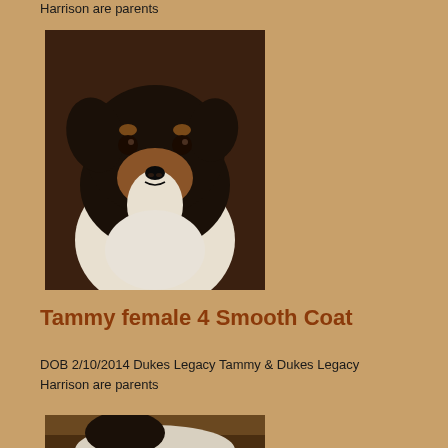Harrison are parents
[Figure (photo): Close-up photo of a small black, tan, and white puppy (Jack Russell Terrier type) looking at the camera against a dark brown background]
Tammy female 4 Smooth Coat
DOB 2/10/2014 Dukes Legacy Tammy & Dukes Legacy Harrison are parents
[Figure (photo): Partial view of another puppy, bottom of page, cropped]